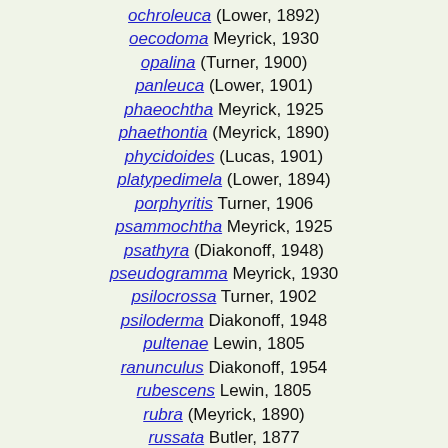ochroleuca (Lower, 1892)
oecodoma Meyrick, 1930
opalina (Turner, 1900)
panleuca (Lower, 1901)
phaeochtha Meyrick, 1925
phaethontia (Meyrick, 1890)
phycidoides (Lucas, 1901)
platypedimela (Lower, 1894)
porphyritis Turner, 1906
psammochtha Meyrick, 1925
psathyra (Diakonoff, 1948)
pseudogramma Meyrick, 1930
psilocrossa Turner, 1902
psiloderma Diakonoff, 1948
pultenae Lewin, 1805
ranunculus Diakonoff, 1954
rubescens Lewin, 1805
rubra (Meyrick, 1890)
russata Butler, 1877
sacerdos Turner, 1902
sarcinota (Meyrick, 1890)
semnocrana Meyrick, 1928
sepiogramma Meyrick, 1938
spilonota Scott, 1864
stenoleuca (Lower, 1894)